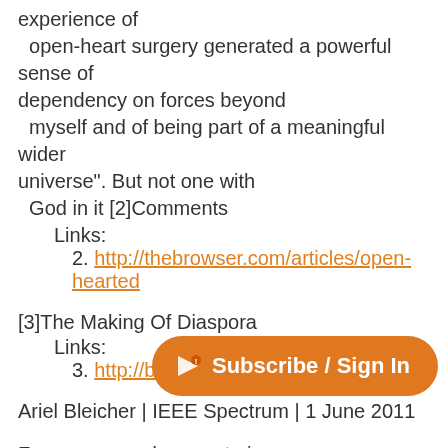experience of
  open-heart surgery generated a powerful sense of dependency on forces beyond
  myself and of being part of a meaningful wider universe". But not one with
  God in it [2]Comments
Links:
2. http://thebrowser.com/articles/open-hearted
[3]The Making Of Diaspora
Links:
3. http://b.rw/jUCITX
Ariel Bleicher | IEEE Spectrum | 1 June 2011
Four young coders are trying to change social networking forever. Their vision?
  Users set a preferred networking provider but can still interact with
[Figure (other): Orange pill-shaped Subscribe / Sign In button with a small icon on the left]